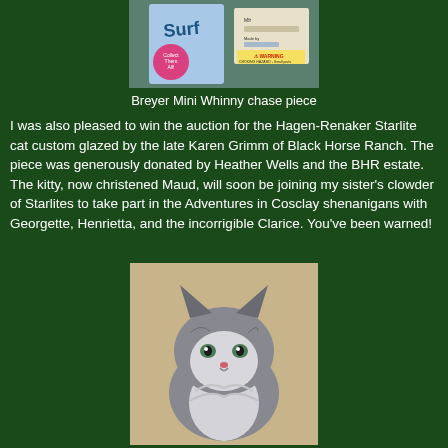[Figure (photo): Breyer Mini Whinny chase piece product packaging photo showing a small horse figurine in packaging with Surge branding and a pink circle sticker]
Breyer Mini Whinny chase piece
I was also pleased to win the auction for the Hagen-Renaker Starlite cat custom glazed by the late Karen Grimm of Black Horse Ranch. The piece was generously donated by Heather Wells and the BHR estate. The kitty, now christened Maud, will soon be joining my sister's clowder of Starlites to take part in the Adventures in Cosclay shenanigans with Georgette, Henrietta, and the incorrigible Clarice. You've been warned!
[Figure (photo): Hagen-Renaker Starlite cat figurine custom glazed by Karen Grimm, showing a grey and white Persian-style cat with detailed face and fluffy fur]